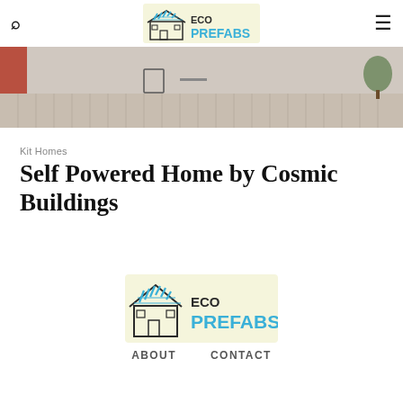Eco Prefabs logo, search icon, hamburger menu
[Figure (photo): Hero image of a modern home deck/terrace with wooden floor planks, outdoor furniture, and a red exterior wall visible on the left]
Kit Homes
Self Powered Home by Cosmic Buildings
[Figure (logo): Eco Prefabs logo — house icon with solar panels on roof, text ECO PREFABS in teal/dark colors on light yellow background]
ABOUT   CONTACT